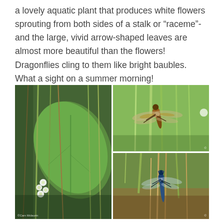a lovely aquatic plant that produces white flowers sprouting from both sides of a stalk or “raceme”- and the large, vivid arrow-shaped leaves are almost more beautiful than the flowers! Dragonflies cling to them like bright baubles. What a sight on a summer morning!
[Figure (photo): Three nature photographs arranged in a grid: a large left image showing white aquatic flowers and broad green arrow-shaped leaves among tall grasses with a watermark; a top-right image showing a brown dragonfly clinging to a green grass stalk; a bottom-right image showing a blue dragonfly clinging to dried plant stalks.]